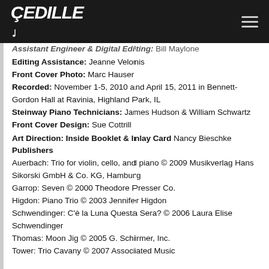CEDILLE
Assistant Engineer & Digital Editing: Bill Maylone
Editing Assistance: Jeanne Velonis
Front Cover Photo: Marc Hauser
Recorded: November 1-5, 2010 and April 15, 2011 in Bennett-Gordon Hall at Ravinia, Highland Park, IL
Steinway Piano Technicians: James Hudson & William Schwartz
Front Cover Design: Sue Cottrill
Art Direction: Inside Booklet & Inlay Card Nancy Bieschke
Publishers
Auerbach: Trio for violin, cello, and piano © 2009 Musikverlag Hans Sikorski GmbH & Co. KG, Hamburg
Garrop: Seven © 2000 Theodore Presser Co.
Higdon: Piano Trio © 2003 Jennifer Higdon
Schwendinger: C'è la Luna Questa Sera? © 2006 Laura Elise Schwendinger
Thomas: Moon Jig © 2005 G. Schirmer, Inc.
Tower: Trio Cavany © 2007 Associated Music